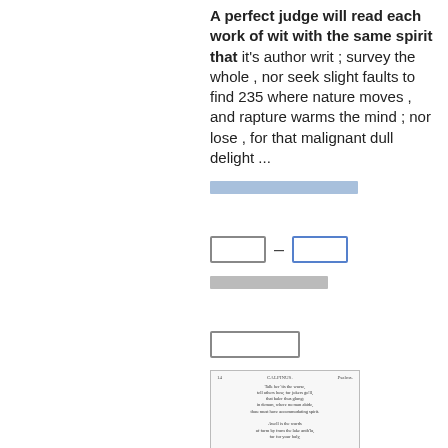A perfect judge will read each work of wit with the same spirit that it's author writ ; survey the whole , nor seek slight faults to find 235 where nature moves , and rapture warms the mind ; nor lose , for that malignant dull delight ...
[link bar - redacted]
[section squares] - [section squares blue]
[metadata squares]
[preview label squares]
[Figure (screenshot): Small thumbnail of a book page showing text in old style print, with a page number 14 and heading CALPINUS and Psalms visible, with several lines of poetic text.]